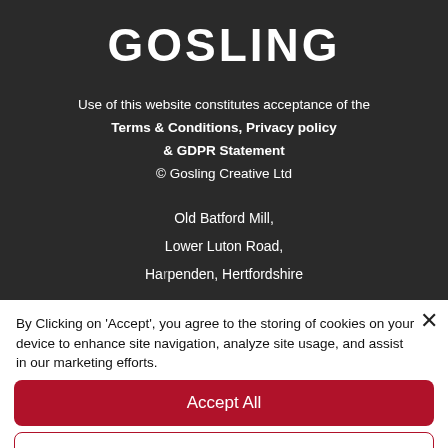GOSLING
Use of this website constitutes acceptance of the Terms & Conditions, Privacy policy & GDPR Statement © Gosling Creative Ltd
Old Batford Mill, Lower Luton Road, Harpenden, Hertfordshire
By Clicking on 'Accept', you agree to the storing of cookies on your device to enhance site navigation, analyze site usage, and assist in our marketing efforts.
Accept All
Deny All
Cookie Settings